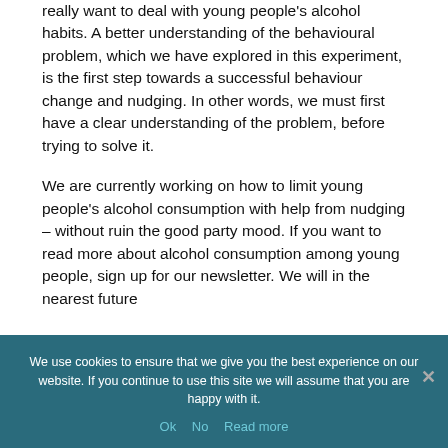really want to deal with young people's alcohol habits. A better understanding of the behavioural problem, which we have explored in this experiment, is the first step towards a successful behaviour change and nudging. In other words, we must first have a clear understanding of the problem, before trying to solve it.
We are currently working on how to limit young people's alcohol consumption with help from nudging – without ruin the good party mood. If you want to read more about alcohol consumption among young people, sign up for our newsletter. We will in the nearest future
We use cookies to ensure that we give you the best experience on our website. If you continue to use this site we will assume that you are happy with it.
Ok   No   Read more